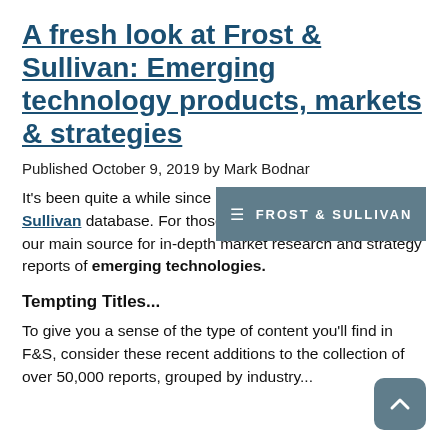A fresh look at Frost & Sullivan: Emerging technology products, markets & strategies
Published October 9, 2019 by Mark Bodnar
[Figure (logo): Frost & Sullivan logo on a steel-blue rectangular background with hamburger menu icon and company name in white uppercase letters]
It's been quite a while since I highlighted our Frost & Sullivan database. For those who are new to it, F&S is our main source for in-depth market research and strategy reports of emerging technologies.
Tempting Titles...
To give you a sense of the type of content you'll find in F&S, consider these recent additions to the collection of over 50,000 reports, grouped by industry...